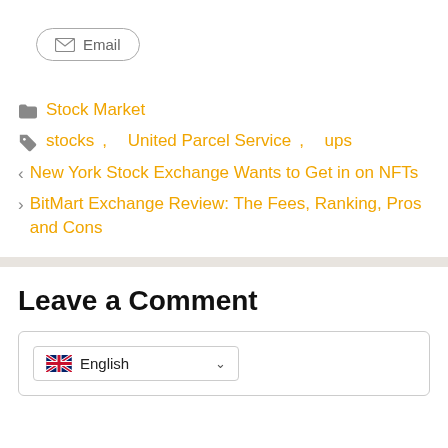[Figure (other): Email share button with envelope icon]
Stock Market
stocks, United Parcel Service, ups
< New York Stock Exchange Wants to Get in on NFTs
> BitMart Exchange Review: The Fees, Ranking, Pros and Cons
Leave a Comment
[Figure (other): Language selector showing English with UK flag]